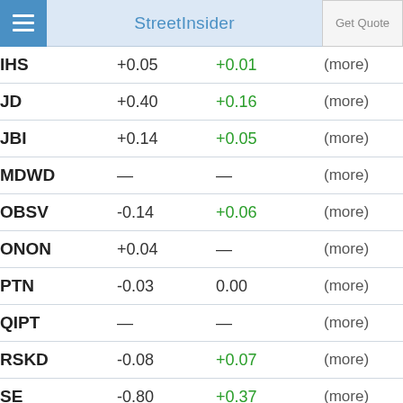StreetInsider | Get Quote
| Ticker | Value1 | Value2 | More |
| --- | --- | --- | --- |
| IHS | +0.05 | +0.01 | (more) |
| JD | +0.40 | +0.16 | (more) |
| JBI | +0.14 | +0.05 | (more) |
| MDWD | — | — | (more) |
| OBSV | -0.14 | +0.06 | (more) |
| ONON | +0.04 | — | (more) |
| PTN | -0.03 | 0.00 | (more) |
| QIPT | — | — | (more) |
| RSKD | -0.08 | +0.07 | (more) |
| SE | -0.80 | +0.37 | (more) |
| WMT | +1.30 | -0.18 | (more) |